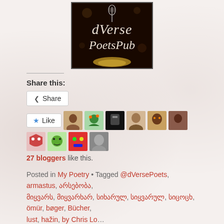[Figure (logo): dVerse PoetsPub logo — dark background with microphone, italic serif text 'dVerse PoetsPub', spotlight glow at bottom]
Share this:
Share (button)
Like (button with star icon)
27 bloggers like this.
Posted in My Poetry • Tagged @dVersePoets, armastus, არსებობა, მიყვარს, მიყვარხარ, სიხარულ, სიყვარულ, სიცოცხ, ömür, bøger, Bücher, lust, hažin, by Chris Lounge, more, content, death, love